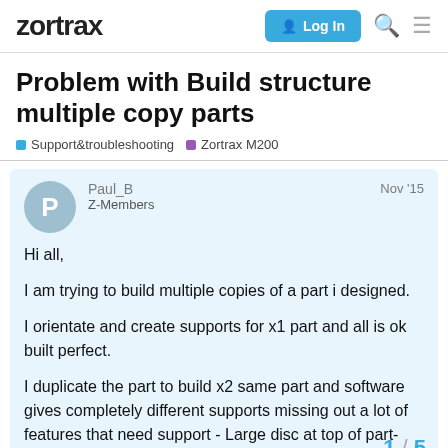zortrax | Log In
Problem with Build structure multiple copy parts
Support&troubleshooting   Zortrax M200
Paul_B  Nov '15
Z-Members

Hi all,

I am trying to build multiple copies of a part i designed.

I orientate and create supports for x1 part and all is ok built perfect.

I duplicate the part to build x2 same part and software gives completely different supports missing out a lot of features that need support - Large disc at top of part-
1 / 5